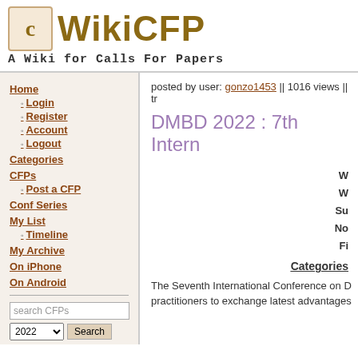WikiCFP - A Wiki for Calls For Papers
posted by user: gonzo1453 || 1016 views || tr
DMBD 2022 : 7th Intern
W
W
Su
No
Fi
Categories
The Seventh International Conference on D practitioners to exchange latest advantages
Home
Login
Register
Account
Logout
Categories
CFPs
Post a CFP
Conf Series
My List
Timeline
My Archive
On iPhone
On Android